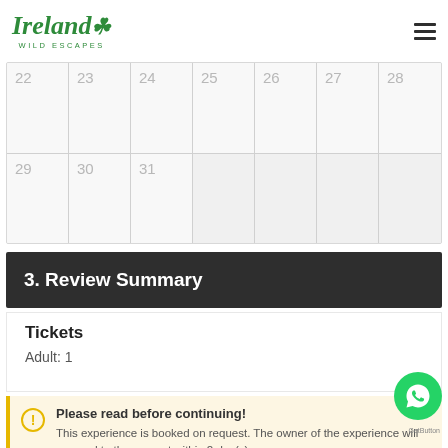[Figure (logo): Ireland Wild Escapes logo in green italic script with shamrock]
[Figure (other): Calendar grid showing dates 22-28 on first row and 29-31 on second row, last month dates greyed out]
3. Review Summary
Tickets
Adult:  1
Please read before continuing! This experience is booked on request. The owner of the experience will respond to the request within 2 day(s)